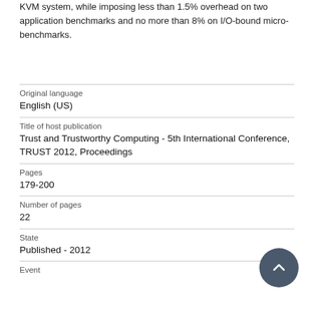KVM system, while imposing less than 1.5% overhead on two application benchmarks and no more than 8% on I/O-bound micro-benchmarks.
| Original language | English (US) |
| Title of host publication | Trust and Trustworthy Computing - 5th International Conference, TRUST 2012, Proceedings |
| Pages | 179-200 |
| Number of pages | 22 |
| State | Published - 2012 |
| Event |  |